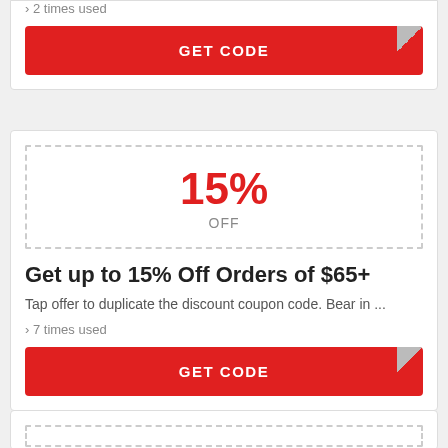› 2 times used
GET CODE
15% OFF
Get up to 15% Off Orders of $65+
Tap offer to duplicate the discount coupon code. Bear in ...
› 7 times used
GET CODE